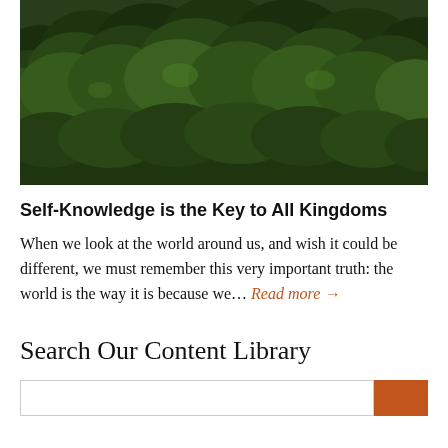[Figure (photo): Aerial view of a dense forest with dark green tree canopy]
Self-Knowledge is the Key to All Kingdoms
When we look at the world around us, and wish it could be different, we must remember this very important truth: the world is the way it is because we... Read more →
Search Our Content Library